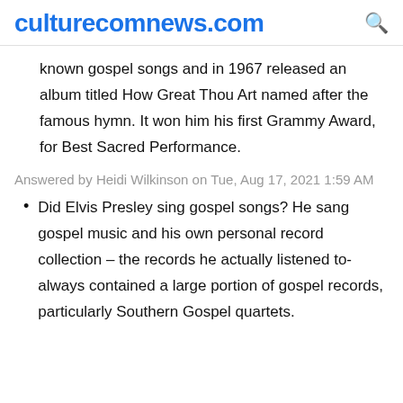culturecomnews.com
known gospel songs and in 1967 released an album titled How Great Thou Art named after the famous hymn. It won him his first Grammy Award, for Best Sacred Performance.
Answered by Heidi Wilkinson on Tue, Aug 17, 2021 1:59 AM
Did Elvis Presley sing gospel songs? He sang gospel music and his own personal record collection – the records he actually listened to- always contained a large portion of gospel records, particularly Southern Gospel quartets.